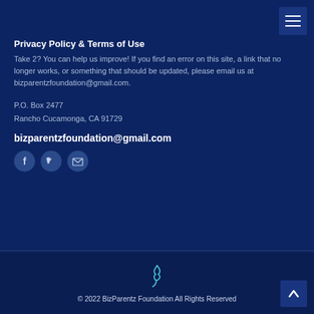Privacy Policy & Terms of Use
Take 2? You can help us improve! If you find an error on this site, a link that no longer works, or something that should be updated, please email us at bizparentzfoundation@gmail.com.
P.O. Box 2477
Rancho Cucamonga, CA 91729
bizparentzfoundation@gmail.com
[Figure (infographic): Three social media icons: Facebook (f), Twitter (bird), Email (envelope) in circular buttons]
[Figure (logo): BizParentz Foundation small teal logo icon]
© 2022 BizParentz Foundation All Rights Reserved